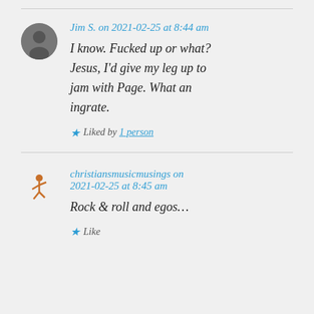Jim S. on 2021-02-25 at 8:44 am
I know. Fucked up or what? Jesus, I'd give my leg up to jam with Page. What an ingrate.
Liked by 1 person
christiansmusicmusings on 2021-02-25 at 8:45 am
Rock & roll and egos...
Like